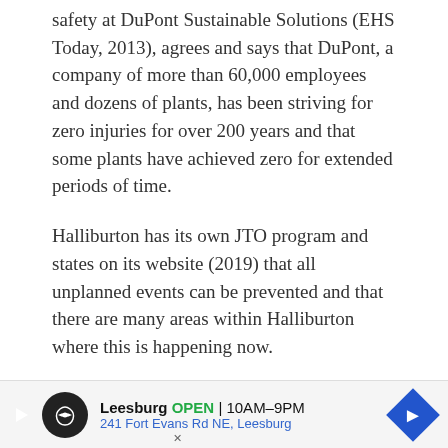safety at DuPont Sustainable Solutions (EHS Today, 2013), agrees and says that DuPont, a company of more than 60,000 employees and dozens of plants, has been striving for zero injuries for over 200 years and that some plants have achieved zero for extended periods of time.
Halliburton has its own JTO program and states on its website (2019) that all unplanned events can be prevented and that there are many areas within Halliburton where this is happening now.
AND PRACTICE...
While Krzywicki states that some of their plants have reached zero, the reality is that the vast majority of their plants have not, even for short periods of time.
[Figure (other): Advertisement banner for Leesburg store showing logo, open hours (10AM-9PM), and address (241 Fort Evans Rd NE, Leesburg)]